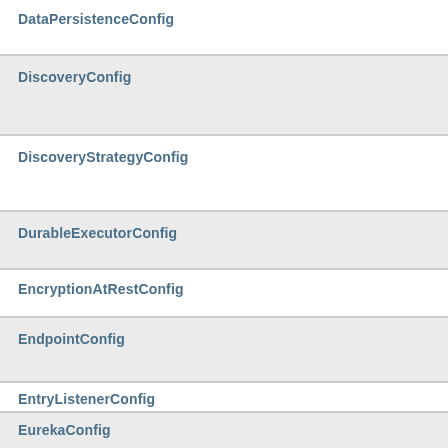DataPersistenceConfig
DiscoveryConfig
DiscoveryStrategyConfig
DurableExecutorConfig
EncryptionAtRestConfig
EndpointConfig
EntryListenerConfig
EurekaConfig